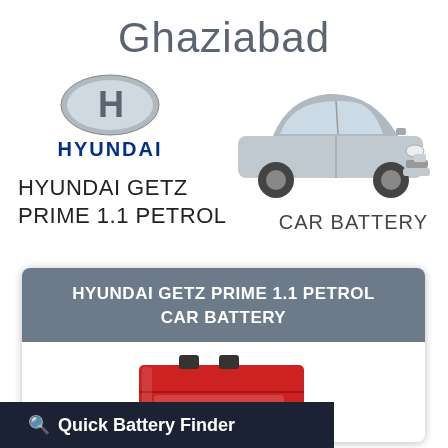Ghaziabad
[Figure (logo): Hyundai H logo (oval with H) and HYUNDAI brand text in blue]
[Figure (photo): Silver Hyundai Getz Prime car, side-front view]
HYUNDAI GETZ
PRIME 1.1 PETROL
CAR BATTERY
HYUNDAI GETZ PRIME 1.1 PETROL CAR BATTERY
[Figure (photo): Red Exide car battery product image, partially visible]
Quick Battery Finder